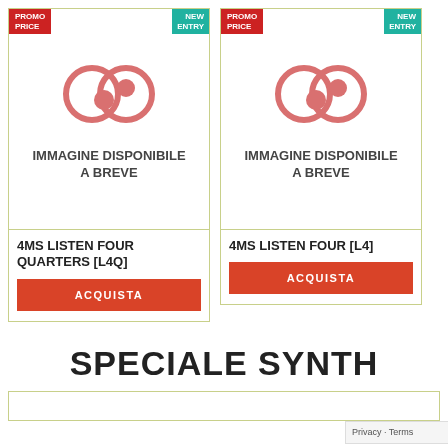[Figure (logo): Product card 1: IMMAGINE DISPONIBILE A BREVE placeholder with PROMO PRICE and NEW ENTRY badges, linked circles logo]
4MS LISTEN FOUR QUARTERS [L4Q]
ACQUISTA
[Figure (logo): Product card 2: IMMAGINE DISPONIBILE A BREVE placeholder with PROMO PRICE and NEW ENTRY badges, linked circles logo]
4MS LISTEN FOUR [L4]
ACQUISTA
SPECIALE SYNTH